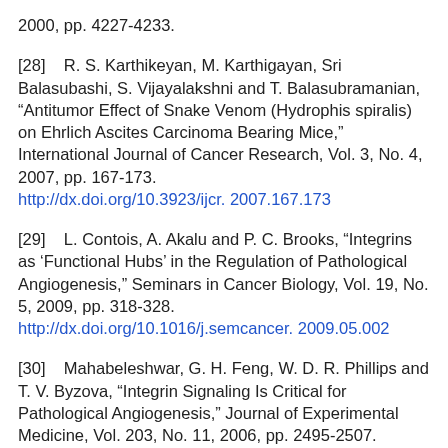2000, pp. 4227-4233.
[28]   R. S. Karthikeyan, M. Karthigayan, Sri Balasubashi, S. Vijayalakshni and T. Balasubramanian, “Antitumor Effect of Snake Venom (Hydrophis spiralis) on Ehrlich Ascites Carcinoma Bearing Mice,” International Journal of Cancer Research, Vol. 3, No. 4, 2007, pp. 167-173. http://dx.doi.org/10.3923/ijcr. 2007.167.173
[29]   L. Contois, A. Akalu and P. C. Brooks, “Integrins as ‘Functional Hubs’ in the Regulation of Pathological Angiogenesis,” Seminars in Cancer Biology, Vol. 19, No. 5, 2009, pp. 318-328. http://dx.doi.org/10.1016/j.semcancer. 2009.05.002
[30]   Mahabeleshwar, G. H. Feng, W. D. R. Phillips and T. V. Byzova, “Integrin Signaling Is Critical for Pathological Angiogenesis,” Journal of Experimental Medicine, Vol. 203, No. 11, 2006, pp. 2495-2507.